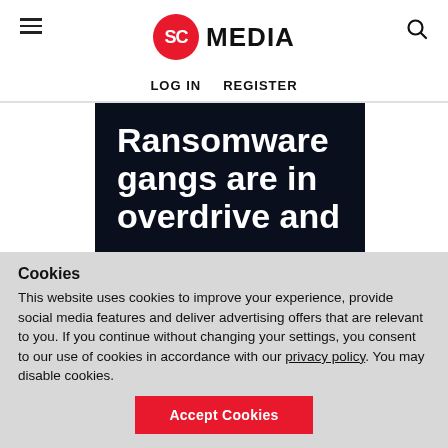SC MEDIA | LOG IN | REGISTER
[Figure (illustration): SC Media logo: red circle with 'SC' in white, followed by bold black 'MEDIA' text]
Ransomware gangs are in overdrive and
Cookies
This website uses cookies to improve your experience, provide social media features and deliver advertising offers that are relevant to you. If you continue without changing your settings, you consent to our use of cookies in accordance with our privacy policy. You may disable cookies.